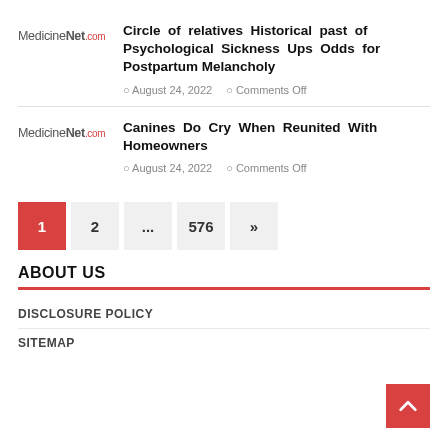[Figure (logo): MedicineNet.com logo]
Circle of relatives Historical past of Psychological Sickness Ups Odds for Postpartum Melancholy
August 24, 2022   Comments Off
[Figure (logo): MedicineNet.com logo]
Canines Do Cry When Reunited With Homeowners
August 24, 2022   Comments Off
1  2  ...  576  »
ABOUT US
DISCLOSURE POLICY
SITEMAP